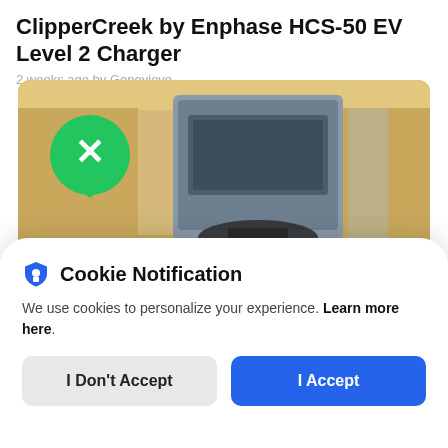ClipperCreek by Enphase HCS-50 EV Level 2 Charger
2 weeks ago by Genevieve
[Figure (photo): Photo of a ClipperCreek EV Level 2 charger mounted on a beige/tan wall, with a green circular app icon overlay in upper left showing a chat bubble with an X]
Cookie Notification
We use cookies to personalize your experience. Learn more here.
I Don't Accept
I Accept